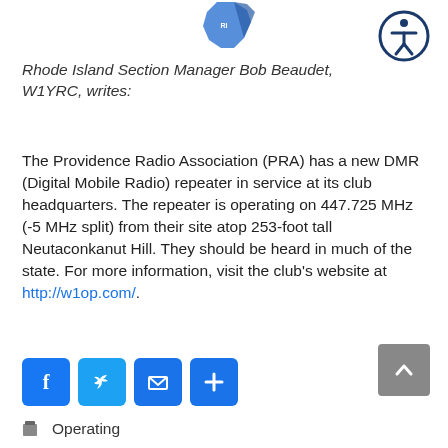[Figure (illustration): Pixel art map of Rhode Island state, blue/navy colored]
[Figure (logo): Accessibility icon: person in circle with dark blue border]
Rhode Island Section Manager Bob Beaudet, W1YRC, writes:
The Providence Radio Association (PRA) has a new DMR (Digital Mobile Radio) repeater in service at its club headquarters. The repeater is operating on 447.725 MHz (-5 MHz split) from their site atop 253-foot tall Neutaconkanut Hill. They should be heard in much of the state. For more information, visit the club’s website at http://w1op.com/.
[Figure (infographic): Four social sharing buttons: Facebook (f), Twitter (bird), Email (envelope), Share (+); all on blue rounded rectangles]
[Figure (other): Back to top button: gray square with upward chevron]
Operating